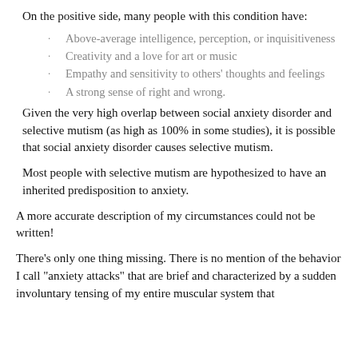On the positive side, many people with this condition have:
Above-average intelligence, perception, or inquisitiveness
Creativity and a love for art or music
Empathy and sensitivity to others' thoughts and feelings
A strong sense of right and wrong.
Given the very high overlap between social anxiety disorder and selective mutism (as high as 100% in some studies), it is possible that social anxiety disorder causes selective mutism.
Most people with selective mutism are hypothesized to have an inherited predisposition to anxiety.
A more accurate description of my circumstances could not be written!
There’s only one thing missing. There is no mention of the behavior I call “anxiety attacks” that are brief and characterized by a sudden involuntary tensing of my entire muscular system that